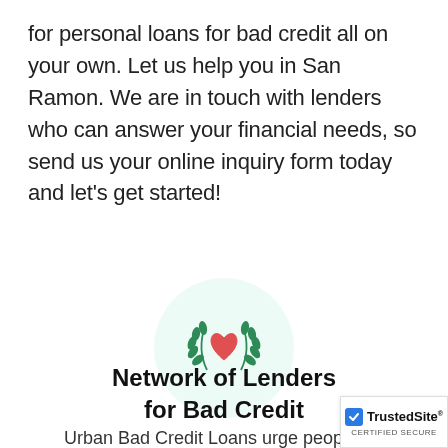for personal loans for bad credit all on your own. Let us help you in San Ramon. We are in touch with lenders who can answer your financial needs, so send us your online inquiry form today and let’s get started!
[Figure (illustration): A circular mint/light green background with a green laurel wreath icon surrounding a red heart icon in the center]
Network of Lenders for Bad Credit
Urban Bad Credit Loans urge people wit...
[Figure (logo): TrustedSite certified secure badge with blue checkbox icon]